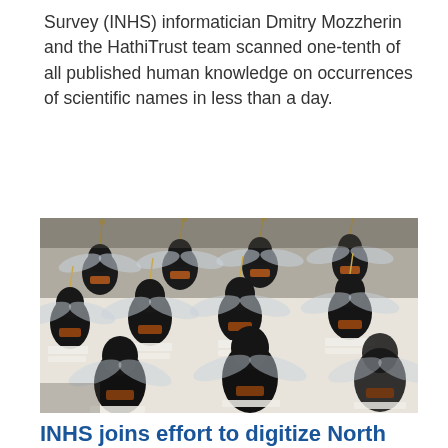Survey (INHS) informatician Dmitry Mozzherin and the HathiTrust team scanned one-tenth of all published human knowledge on occurrences of scientific names in less than a day.
[Figure (photo): Close-up photograph of a large collection of pinned insect specimens (appears to be flies or similar insects), mounted on white paper labels in a specimen drawer. The insects are dark/black with orange markings and spread wings, with pins through them, arranged in rows.]
INHS joins effort to digitize North American parasite collections